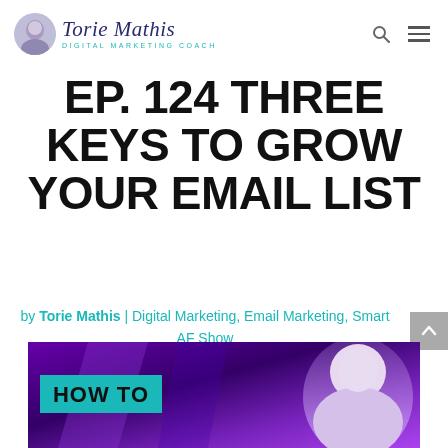Torie Mathis | Digital Marketing Coach
EP. 124 THREE KEYS TO GROW YOUR EMAIL LIST
by Torie Mathis | Digital Marketing, Email Marketing, Smart AF Show
[Figure (screenshot): Thumbnail image with purple background, 'HOW TO' text badge in teal, and a blonde woman's face on the right side]